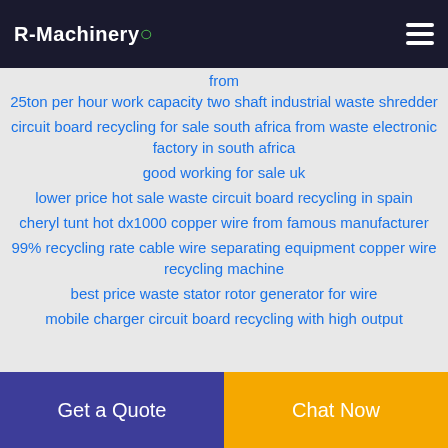R-Machinery
from
25ton per hour work capacity two shaft industrial waste shredder
circuit board recycling for sale south africa from waste electronic factory in south africa
good working for sale uk
lower price hot sale waste circuit board recycling in spain
cheryl tunt hot dx1000 copper wire from famous manufacturer
99% recycling rate cable wire separating equipment copper wire recycling machine
best price waste stator rotor generator for wire
mobile charger circuit board recycling with high output
Get a Quote
Chat Now